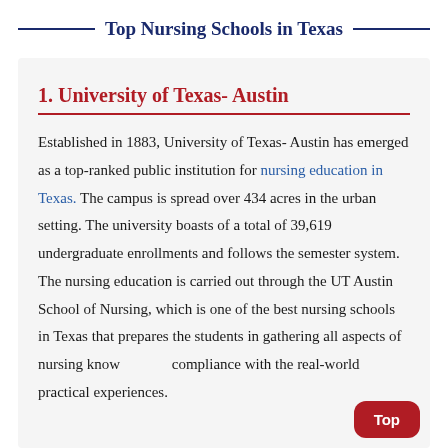Top Nursing Schools in Texas
1. University of Texas- Austin
Established in 1883, University of Texas- Austin has emerged as a top-ranked public institution for nursing education in Texas. The campus is spread over 434 acres in the urban setting. The university boasts of a total of 39,619 undergraduate enrollments and follows the semester system. The nursing education is carried out through the UT Austin School of Nursing, which is one of the best nursing schools in Texas that prepares the students in gathering all aspects of nursing knowledge in compliance with the real-world practical experiences.